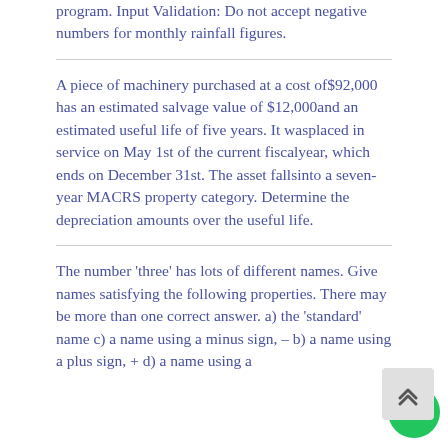program. Input Validation: Do not accept negative numbers for monthly rainfall figures.
A piece of machinery purchased at a cost of$92,000 has an estimated salvage value of $12,000and an estimated useful life of five years. It wasplaced in service on May 1st of the current fiscalyear, which ends on December 31st. The asset fallsinto a seven-year MACRS property category. Determine the depreciation amounts over the useful life.
The number 'three' has lots of different names. Give names satisfying the following properties. There may be more than one correct answer. a) the 'standard' name c) a name using a minus sign, – b) a name using a plus sign, + d) a name using a